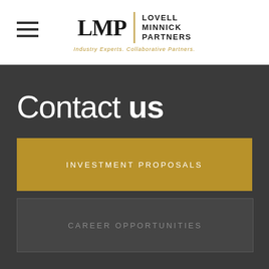[Figure (logo): Lovell Minnick Partners logo with LMP monogram, vertical gold divider, and text 'LOVELL MINNICK PARTNERS' with tagline 'Industry Experts. Collaborative Partners.']
Contact us
INVESTMENT PROPOSALS
CAREER OPPORTUNITIES